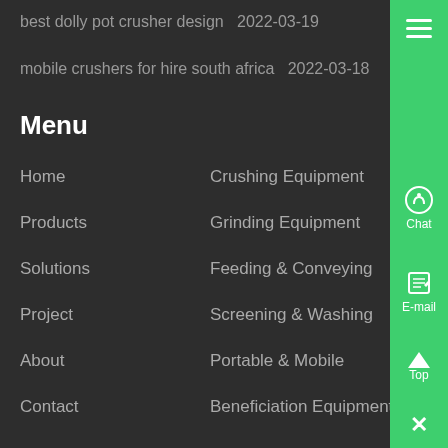best dolly pot crusher design  2022-03-19
mobile crushers for hire south africa  2022-03-18
Menu
Home
Crushing Equipment
Products
Grinding Equipment
Solutions
Feeding & Conveying
Project
Screening & Washing
About
Portable & Mobile
Contact
Beneficiation Equipment
Contact Us